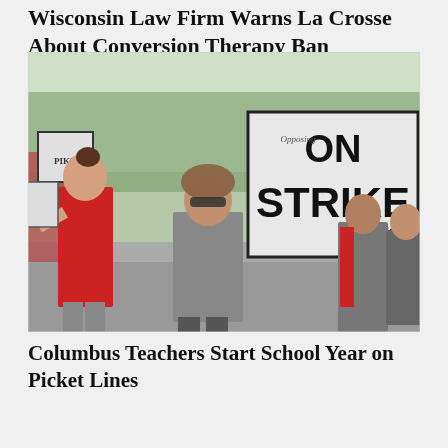Wisconsin Law Firm Warns La Crosse About Conversion Therapy Ban Ordinance
[Figure (photo): Outdoor protest scene with people marching and holding picket signs. A woman in a red shirt is visible on the left. In the center, a woman in a grey shirt and sunglasses walks. A large sign reads 'ON STRIKE' in bold letters. Other protesters with signs are visible in the background.]
Columbus Teachers Start School Year on Picket Lines